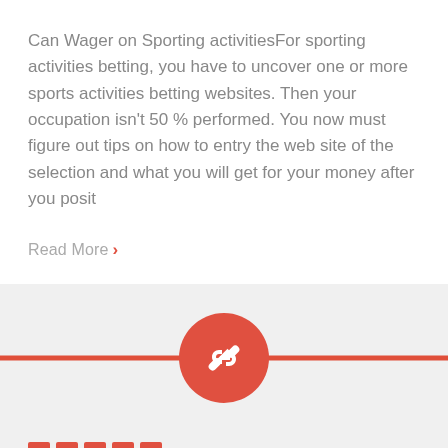Can Wager on Sporting activitiesFor sporting activities betting, you have to uncover one or more sports activities betting websites. Then your occupation isn't 50 % performed. You now must figure out tips on how to entry the web site of the selection and what you will get for your money after you posit
Read More >
[Figure (illustration): A red horizontal divider line with a red circular button in the center containing a chain link icon]
[Figure (other): Five small red square boxes in a row at the bottom of the page]